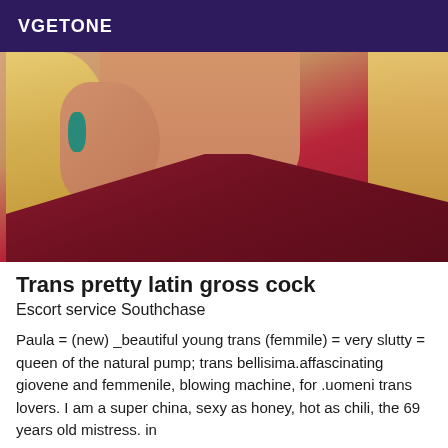VGETONE
[Figure (photo): Close-up photo of a blonde person wearing a dark red/burgundy top, hand holding hair, teal painted nails visible]
Trans pretty latin gross cock
Escort service Southchase
Paula = (new) _beautiful young trans (femmile) = very slutty = queen of the natural pump; trans bellisima.affascinating giovene and femmenile, blowing machine, for .uomeni trans lovers. I am a super china, sexy as honey, hot as chili, the 69 years old mistress. in